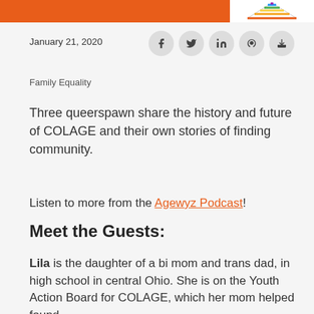January 21, 2020
Family Equality
Three queerspawn share the history and future of COLAGE and their own stories of finding community.
Listen to more from the Agewyz Podcast!
Meet the Guests:
Lila is the daughter of a bi mom and trans dad, in high school in central Ohio. She is on the Youth Action Board for COLAGE, which her mom helped found.